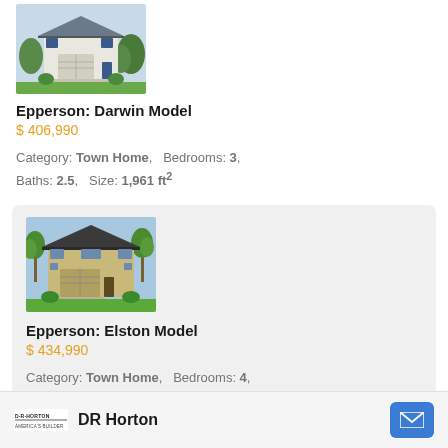[Figure (photo): Exterior photo of Darwin Model townhome - white two-story home with garage]
Epperson: Darwin Model
$ 406,990
Category: Town Home,   Bedrooms: 3,
Baths: 2.5,   Size: 1,961 ft²
[Figure (photo): Exterior photo of Elston Model townhome - tan two-story home with garage and tropical landscaping]
Epperson: Elston Model
$ 434,990
Category: Town Home,   Bedrooms: 4,
Baths: 2.5,   Size: 2,260 ft²
DR Horton